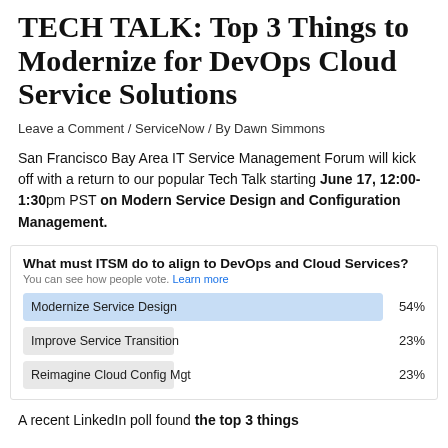TECH TALK: Top 3 Things to Modernize for DevOps Cloud Service Solutions
Leave a Comment / ServiceNow / By Dawn Simmons
San Francisco Bay Area IT Service Management Forum will kick off with a return to our popular Tech Talk starting June 17, 12:00-1:30pm PST on Modern Service Design and Configuration Management.
[Figure (bar-chart): What must ITSM do to align to DevOps and Cloud Services?]
A recent LinkedIn poll found the top 3 things